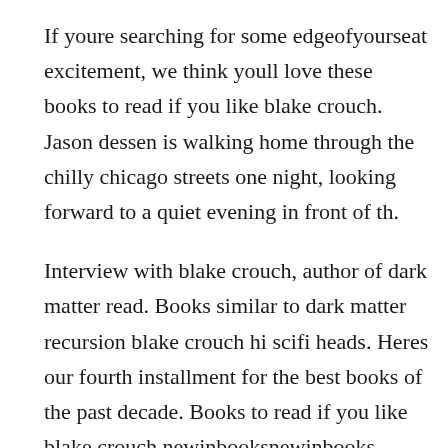If youre searching for some edgeofyourseat excitement, we think youll love these books to read if you like blake crouch. Jason dessen is walking home through the chilly chicago streets one night, looking forward to a quiet evening in front of th.
Interview with blake crouch, author of dark matter read. Books similar to dark matter recursion blake crouch hi scifi heads. Heres our fourth installment for the best books of the past decade. Books to read if you like blake crouch newinbooksnewinbooks.